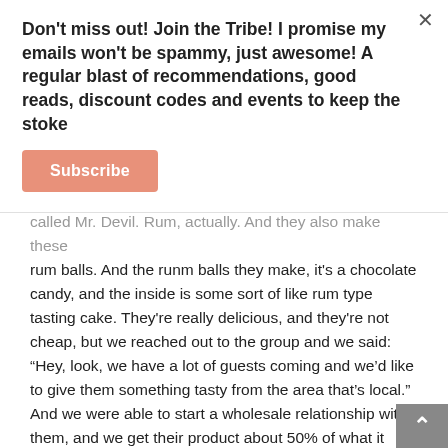Don't miss out! Join the Tribe! I promise my emails won't be spammy, just awesome! A regular blast of recommendations, good reads, discount codes and events to keep the stoke
Subscribe
called Mr. Devil. Rum, actually. And they also make these rum balls. And the runm balls they make, it's a chocolate candy, and the inside is some sort of like rum type tasting cake. They're really delicious, and they're not cheap, but we reached out to the group and we said: "Hey, look, we have a lot of guests coming and we'd like to give them something tasty from the area that's local." And we were able to start a wholesale relationship with them, and we get their product about 50% of what it retails for. People really seem to like that. Now, if somebody is opposed to alcohol in a way that mi... t